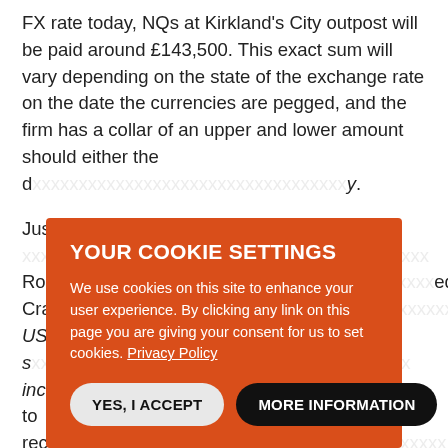FX rate today, NQs at Kirkland's City outpost will be paid around £143,500. This exact sum will vary depending on the state of the exchange rate on the date the currencies are pegged, and the firm has a collar of an upper and lower amount should either the d[...] y.
Just [...] Rollo [...] ed Craw [...] he US s [...] inclu [...] et to rece [...] Craw [...] immediately respond to a request for comment.
[Figure (other): Cookie consent overlay with orange background. Title: YOUR COOKIE SETTINGS. Body text: We use cookies on this site to enhance your user experience. By clicking any link on this page you are giving your consent for us to set cookies. Privacy Policy. Two buttons: YES, I ACCEPT (light/white rounded button) and MORE INFORMATION (dark/black rounded button).]
Milbank and Simpson Thacher, who are both boosting their salaries in the US, will also peg UK salaries to the dollar so that their London lawyers share in the